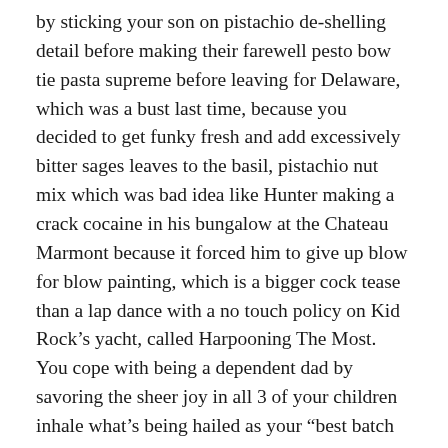by sticking your son on pistachio de-shelling detail before making their farewell pesto bow tie pasta supreme before leaving for Delaware, which was a bust last time, because you decided to get funky fresh and add excessively bitter sages leaves to the basil, pistachio nut mix which was bad idea like Hunter making a crack cocaine in his bungalow at the Chateau Marmont because it forced him to give up blow for blow painting, which is a bigger cock tease than a lap dance with a no touch policy on Kid Rock’s yacht, called Harpooning The Most. You cope with being a dependent dad by savoring the sheer joy in all 3 of your children inhale what’s being hailed as your “best batch yet daddy.” While your youngest one comments in ultra-focused manner, “Too yummy for yummy dance”, before resuming his role as Belushi 2.0 in Koshertarian House. Holiness killing hackery, Challah. Thank you very much.